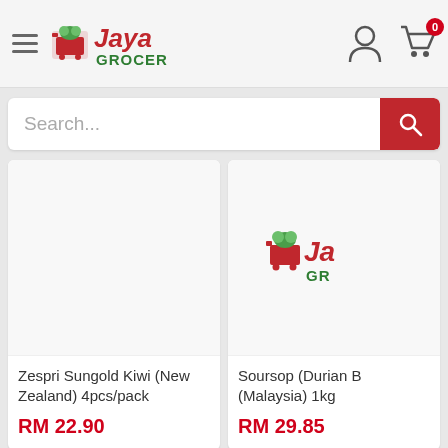Jaya Grocer
Search...
[Figure (screenshot): Product card for Zespri Sungold Kiwi (New Zealand) 4pcs/pack – blank white product image area]
Zespri Sungold Kiwi (New Zealand) 4pcs/pack
RM 22.90
[Figure (screenshot): Product card for Soursop (Durian B...) (Malaysia) 1kg – Jaya Grocer logo placeholder image]
Soursop (Durian B... (Malaysia) 1kg
RM 29.85